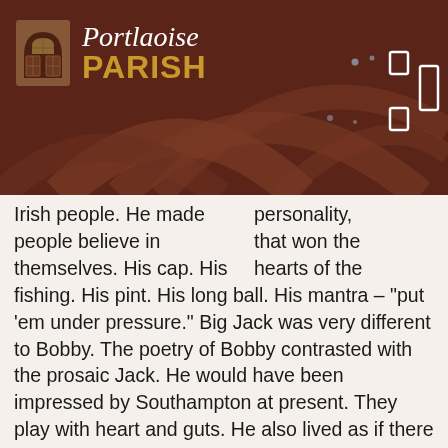[Figure (logo): Portlaoise Parish logo with church door icon, 'Portlaoise' in white italic serif and 'PARISH' in gold bold sans-serif, on dark brown background with decorative arch]
personality, that won the hearts of the Irish people. He made people believe in themselves. His cap. His fishing. His pint. His long ball. His mantra – "put 'em under pressure." Big Jack was very different to Bobby. The poetry of Bobby contrasted with the prosaic Jack. He would have been impressed by Southampton at present. They play with heart and guts. He also lived as if there was more to life than football. Jack was the strong centre half. His 'black book' summed up his tough and rough play. He was a much better player than he appeared. His crude coaching was more subtle than it seemed. He became a symbol of hope and confidence in Ireland. Nothing was now impossible. There was fun. There was the-devil-may-care outlook which was orchestrated. He was even credited with playing a part